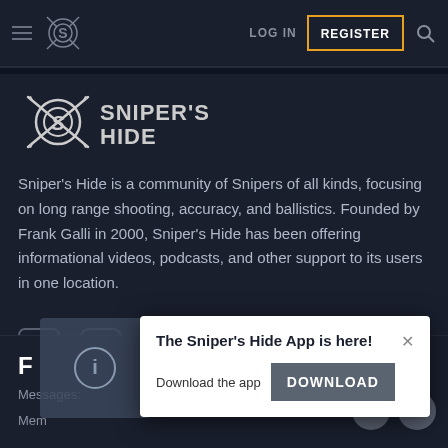LOG IN | REGISTER
[Figure (logo): Sniper's Hide logo with crossed rifles and stylized S]
Sniper's Hide is a community of Snipers of all kinds, focusing on long range shooting, accuracy, and ballistics. Founded by Frank Galli in 2000, Sniper's Hide has been offering informational videos, podcasts, and other support to its users in one location.
[Figure (infographic): Social media icons: Facebook, Instagram, Twitter, YouTube]
F
Messages: 5,80...
[Figure (infographic): Popup: The Sniper's Hide App is here! Download the app [DOWNLOAD button]]